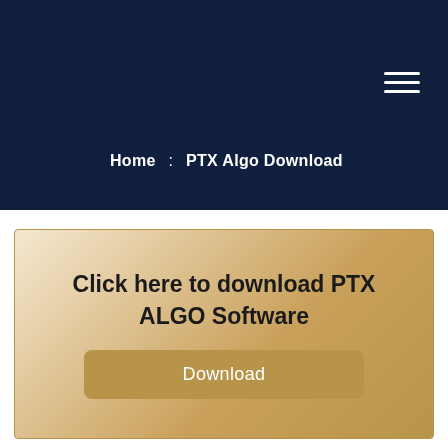Home  :  PTX Algo Download
Click here to download PTX ALGO Software
Download